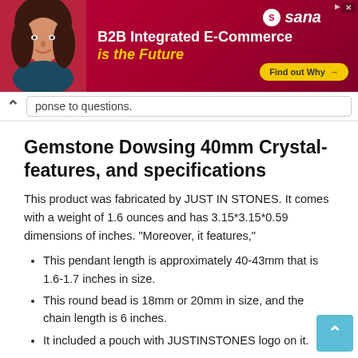[Figure (illustration): Advertisement banner for Sana B2B Integrated E-Commerce with a woman smiling on the left, headline text, and a 'Find out Why' button on a red/crimson background.]
ponse to questions.
Gemstone Dowsing 40mm Crystal-features, and specifications
This product was fabricated by JUST IN STONES. It comes with a weight of 1.6 ounces and has 3.15*3.15*0.59 dimensions of inches. “Moreover, it features,”
This pendant length is approximately 40-43mm that is 1.6-1.7 inches in size.
This round bead is 18mm or 20mm in size, and the chain length is 6 inches.
It included a pouch with JUSTINSTONES logo on it.